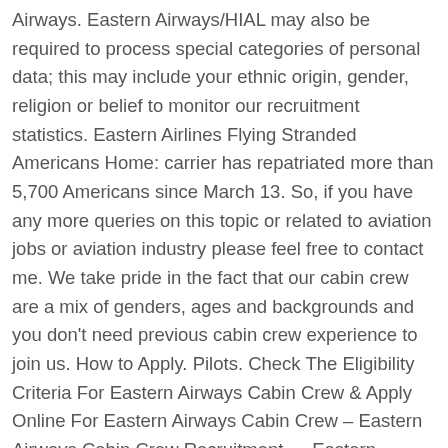Airways. Eastern Airways/HIAL may also be required to process special categories of personal data; this may include your ethnic origin, gender, religion or belief to monitor our recruitment statistics. Eastern Airlines Flying Stranded Americans Home: carrier has repatriated more than 5,700 Americans since March 13. So, if you have any more queries on this topic or related to aviation jobs or aviation industry please feel free to contact me. We take pride in the fact that our cabin crew are a mix of genders, ages and backgrounds and you don't need previous cabin crew experience to join us. How to Apply. Pilots. Check The Eligibility Criteria For Eastern Airways Cabin Crew & Apply Online For Eastern Airways Cabin Crew – Eastern Airways Cabin Crew Recruitment … Eastern Airways crew are trained to the highest standards with safety being first and foremost. We may also need to process personal data from job applicants to respond to and defend legal claims which may be made against the company. Jobs and Careers at Eastern Airways in Cardiff, United Kingdom. Jobs and Careers at Eastern Airways in Cardiff, United Kingdom. Coordinate with pilots